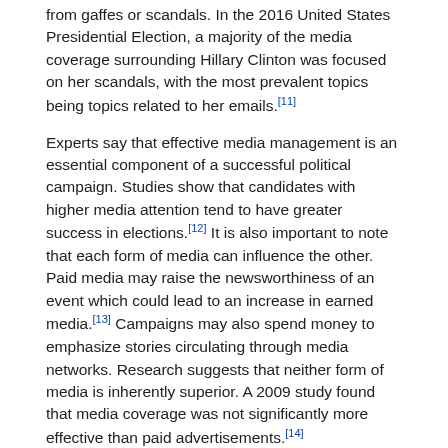from gaffes or scandals. In the 2016 United States Presidential Election, a majority of the media coverage surrounding Hillary Clinton was focused on her scandals, with the most prevalent topics being topics related to her emails.[11]
Experts say that effective media management is an essential component of a successful political campaign. Studies show that candidates with higher media attention tend to have greater success in elections.[12] It is also important to note that each form of media can influence the other. Paid media may raise the newsworthiness of an event which could lead to an increase in earned media.[13] Campaigns may also spend money to emphasize stories circulating through media networks. Research suggests that neither form of media is inherently superior. A 2009 study found that media coverage was not significantly more effective than paid advertisements.[14]
Demonstrations[]
Main article: Demonstration (political)
[Figure (photo): Photograph showing a political demonstration with traditional Chinese architectural elements and crowds of people]